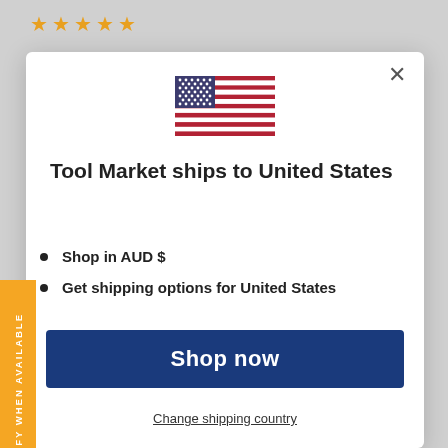[Figure (illustration): Five gold/orange star rating icons]
[Figure (illustration): United States flag SVG]
Tool Market ships to United States
Shop in AUD $
Get shipping options for United States
Shop now
Change shipping country
Your payment information is processed securely. We do not store credit card details nor have access to your credit card